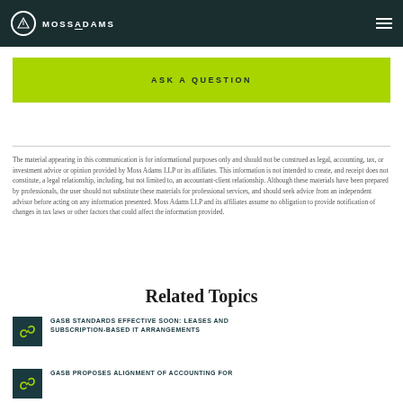MOSSADAMS
ASK A QUESTION
The material appearing in this communication is for informational purposes only and should not be construed as legal, accounting, tax, or investment advice or opinion provided by Moss Adams LLP or its affiliates. This information is not intended to create, and receipt does not constitute, a legal relationship, including, but not limited to, an accountant-client relationship. Although these materials have been prepared by professionals, the user should not substitute these materials for professional services, and should seek advice from an independent advisor before acting on any information presented. Moss Adams LLP and its affiliates assume no obligation to provide notification of changes in tax laws or other factors that could affect the information provided.
Related Topics
GASB STANDARDS EFFECTIVE SOON: LEASES AND SUBSCRIPTION-BASED IT ARRANGEMENTS
GASB PROPOSES ALIGNMENT OF ACCOUNTING FOR